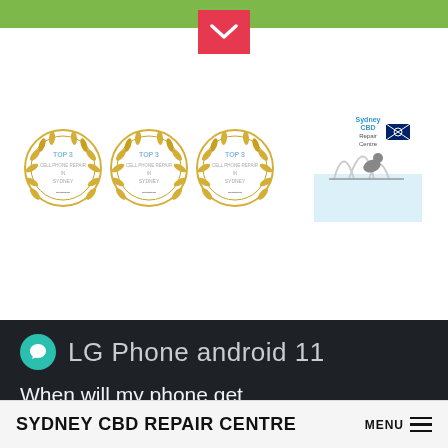[Figure (logo): Green top navigation bar with pink/red dropdown chevron button centered at top]
[Figure (logo): White card containing three gold laurel wreath award badges labeled TOP 3 CELL PHONE REPAIR IN SYDNEY, and Sydney CBD Repair Centre logo with Opera House illustration]
LG Phone android 11
When will my phone get Android 11?
SYDNEY CBD REPAIR CENTRE  MENU ≡